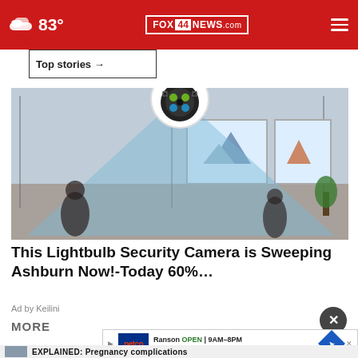83° FOX 44 NEWS.com
Top stories →
[Figure (photo): Advertisement image showing a lightbulb security camera mounted on a ceiling with a blue scanning beam illuminating a room interior]
This Lightbulb Security Camera is Sweeping Ashburn Now!-Today 60%…
Ad by Keilini
MORE
Ranson OPEN 9AM–8PM 217 Oak Lee Dr, #16, Ranson
EXPLAINED: Pregnancy complications